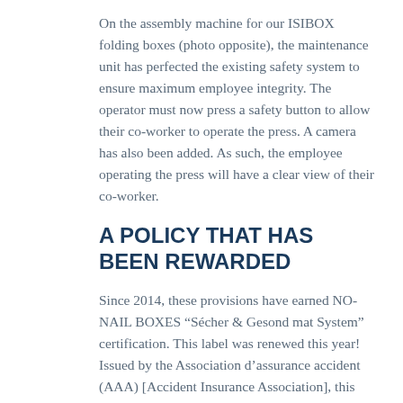On the assembly machine for our ISIBOX folding boxes (photo opposite), the maintenance unit has perfected the existing safety system to ensure maximum employee integrity. The operator must now press a safety button to allow their co-worker to operate the press. A camera has also been added. As such, the employee operating the press will have a clear view of their co-worker.
A POLICY THAT HAS BEEN REWARDED
Since 2014, these provisions have earned NO-NAIL BOXES “Sécher & Gesond mat System” certification. This label was renewed this year! Issued by the Association d’assurance accident (AAA) [Accident Insurance Association], this label undergoes partial reassessment every year and total reassessment every 3 years.
All AADA S...